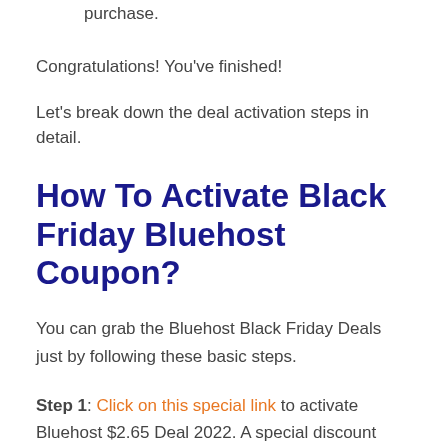Add your account details and complete your purchase.
Congratulations! You've finished!
Let's break down the deal activation steps in detail.
How To Activate Black Friday Bluehost Coupon?
You can grab the Bluehost Black Friday Deals just by following these basic steps.
Step 1: Click on this special link to activate Bluehost $2.65 Deal 2022. A special discount coupon code